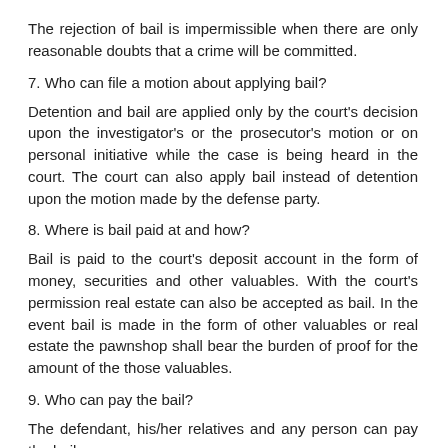The rejection of bail is impermissible when there are only reasonable doubts that a crime will be committed.
7. Who can file a motion about applying bail?
Detention and bail are applied only by the court's decision upon the investigator's or the prosecutor's motion or on personal initiative while the case is being heard in the court. The court can also apply bail instead of detention upon the motion made by the defense party.
8. Where is bail paid at and how?
Bail is paid to the court's deposit account in the form of money, securities and other valuables. With the court's permission real estate can also be accepted as bail. In the event bail is made in the form of other valuables or real estate the pawnshop shall bear the burden of proof for the amount of the those valuables.
9. Who can pay the bail?
The defendant, his/her relatives and any person can pay the bail.